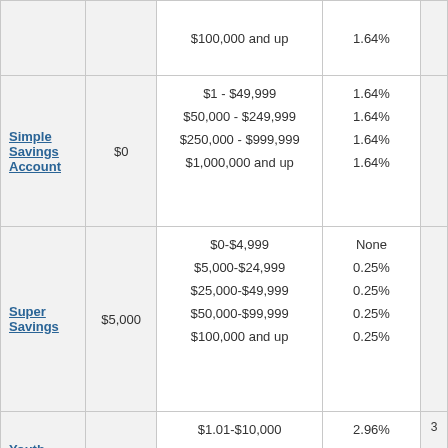| Account | Minimum Opening Deposit | Balance Tier | APY |  |
| --- | --- | --- | --- | --- |
|  |  | $100,000 and up | 1.64% |  |
| Simple Savings Account | $0 | $1 - $49,999
$50,000 - $249,999
$250,000 - $999,999
$1,000,000 and up | 1.64%
1.64%
1.64%
1.64% |  |
| Super Savings | $5,000 | $0-$4,999
$5,000-$24,999
$25,000-$49,999
$50,000-$99,999
$100,000 and up | None
0.25%
0.25%
0.25%
0.25% |  |
| Youth Savings | $1 | $1.01-$10,000
$10,000.01-$20,000* | 2.96%
0.75% | 3 |